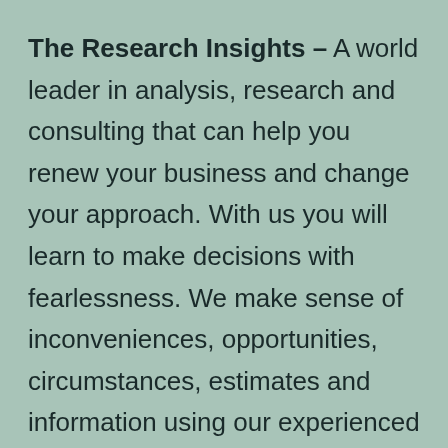The Research Insights – A world leader in analysis, research and consulting that can help you renew your business and change your approach. With us you will learn to make decisions with fearlessness. We make sense of inconveniences, opportunities, circumstances, estimates and information using our experienced skills and verified methodologies. Our research reports will provide you with an exceptional experience of innovative solutions and results. We have effectively led companies around the world with our products and expert services.